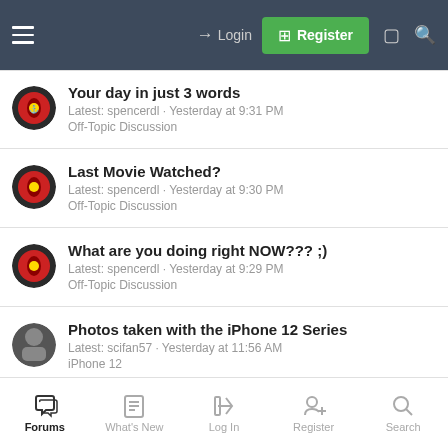Login | Register
Your day in just 3 words
Latest: spencerdl · Yesterday at 9:31 PM
Off-Topic Discussion
Last Movie Watched?
Latest: spencerdl · Yesterday at 9:30 PM
Off-Topic Discussion
What are you doing right NOW??? ;)
Latest: spencerdl · Yesterday at 9:29 PM
Off-Topic Discussion
Photos taken with the iPhone 12 Series
Latest: scifan57 · Yesterday at 11:56 AM
iPhone 12
Post Your Favourite Youtube Videos Here
Forums | What's New | Log In | Register | Search